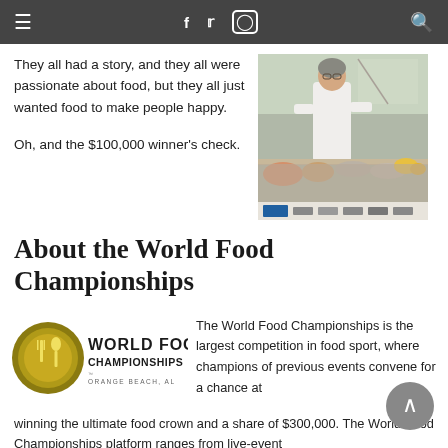≡  f  𝕏  ◯  🔍
They all had a story, and they all were passionate about food, but they all just wanted food to make people happy.

Oh, and the $100,000 winner's check.
[Figure (photo): Person preparing food at an outdoor competition booth with food items on the table]
About the World Food Championships
[Figure (logo): World Food Championships logo - circular gold emblem with fork and spoon, text WORLD FOOD CHAMPIONSHIPS ORANGE BEACH, AL]
The World Food Championships is the largest competition in food sport, where champions of previous events convene for a chance at winning the ultimate food crown and a share of $300,000. The World Food Championships platform ranges from live-event